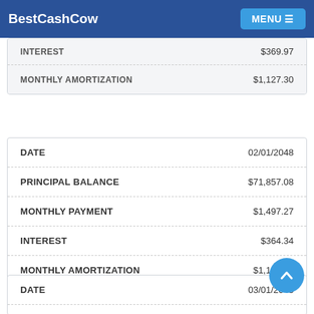BestCashCow | MENU
|  |  |
| --- | --- |
| PRINCIPAL BALANCE | $72,990.01 |
| MONTHLY PAYMENT | $1,497.27 |
|  |  |
| --- | --- |
| INTEREST | $369.97 |
| MONTHLY AMORTIZATION | $1,127.30 |
|  |  |
| --- | --- |
| DATE | 02/01/2048 |
| PRINCIPAL BALANCE | $71,857.08 |
| MONTHLY PAYMENT | $1,497.27 |
| INTEREST | $364.34 |
| MONTHLY AMORTIZATION | $1,132.93 |
|  |  |
| --- | --- |
| DATE | 03/01/2048 |
| PRINCIPAL BALANCE | $70,718.50 |